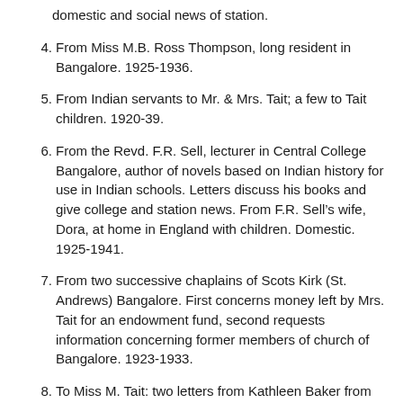domestic and social news of station.
4. From Miss M.B. Ross Thompson, long resident in Bangalore. 1925-1936.
5. From Indian servants to Mr. & Mrs. Tait; a few to Tait children. 1920-39.
6. From the Revd. F.R. Sell, lecturer in Central College Bangalore, author of novels based on Indian history for use in Indian schools. Letters discuss his books and give college and station news. From F.R. Sell’s wife, Dora, at home in England with children. Domestic. 1925-1941.
7. From two successive chaplains of Scots Kirk (St. Andrews) Bangalore. First concerns money left by Mrs. Tait for an endowment fund, second requests information concerning former members of church of Bangalore. 1923-1933.
8. To Miss M. Tait: two letters from Kathleen Baker from